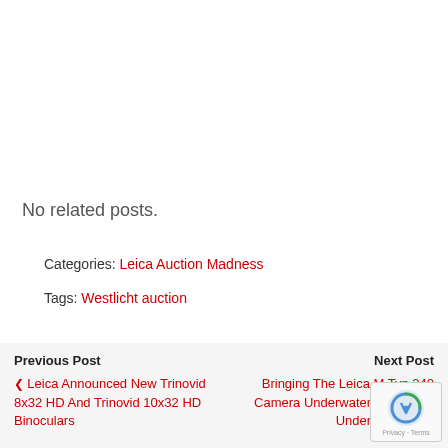No related posts.
Categories: Leica Auction Madness
Tags: Westlicht auction
Previous Post | Leica Announced New Trinovid 8x32 HD And Trinovid 10x32 HD Binoculars || Next Post | Bringing The Leica M Typ 240 Camera Underwater With Subal Underwater Ho...